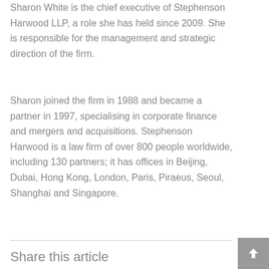Sharon White is the chief executive of Stephenson Harwood LLP, a role she has held since 2009. She is responsible for the management and strategic direction of the firm.
Sharon joined the firm in 1988 and became a partner in 1997, specialising in corporate finance and mergers and acquisitions. Stephenson Harwood is a law firm of over 800 people worldwide, including 130 partners; it has offices in Beijing, Dubai, Hong Kong, London, Paris, Piraeus, Seoul, Shanghai and Singapore.
Share this article